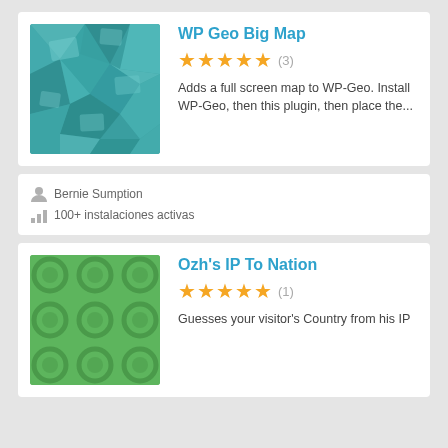[Figure (illustration): WP Geo Big Map plugin thumbnail - teal/cyan geometric polygon pattern]
WP Geo Big Map
★★★★★ (3)
Adds a full screen map to WP-Geo. Install WP-Geo, then this plugin, then place the...
Bernie Sumption
100+ instalaciones activas
[Figure (illustration): Ozh's IP To Nation plugin thumbnail - green background with circle patterns]
Ozh's IP To Nation
★★★★★ (1)
Guesses your visitor's Country from his IP